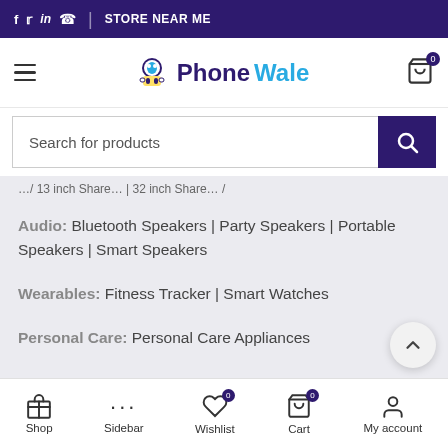f  tw  in  WhatsApp  |  STORE NEAR ME
[Figure (logo): PhoneWale logo with mascot character, hamburger menu icon on left, cart icon with 0 badge on right]
Search for products
Audio: Bluetooth Speakers | Party Speakers | Portable Speakers | Smart Speakers
Wearables: Fitness Tracker | Smart Watches
Personal Care: Personal Care Appliances
Shop  Sidebar  Wishlist  Cart  My account